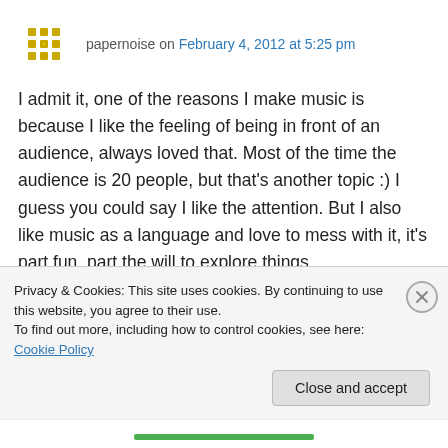papernoise on February 4, 2012 at 5:25 pm
I admit it, one of the reasons I make music is because I like the feeling of being in front of an audience, always loved that. Most of the time the audience is 20 people, but that's another topic :) I guess you could say I like the attention. But I also like music as a language and love to mess with it, it's part fun, part the will to explore things,
Privacy & Cookies: This site uses cookies. By continuing to use this website, you agree to their use.
To find out more, including how to control cookies, see here: Cookie Policy